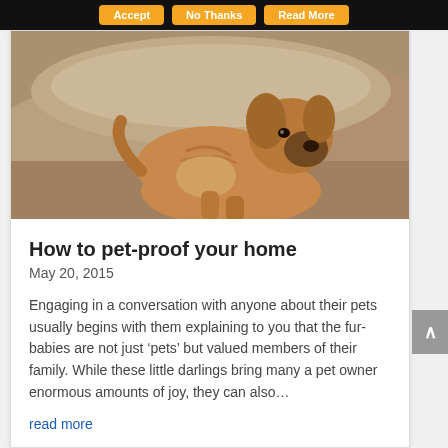Accept | No Thanks | Read More
[Figure (photo): A tan/brown boxer dog lying on a beige cushioned sofa, looking toward the camera]
How to pet-proof your home
May 20, 2015
Engaging in a conversation with anyone about their pets usually begins with them explaining to you that the fur-babies are not just ‘pets’ but valued members of their family. While these little darlings bring many a pet owner enormous amounts of joy, they can also…
read more